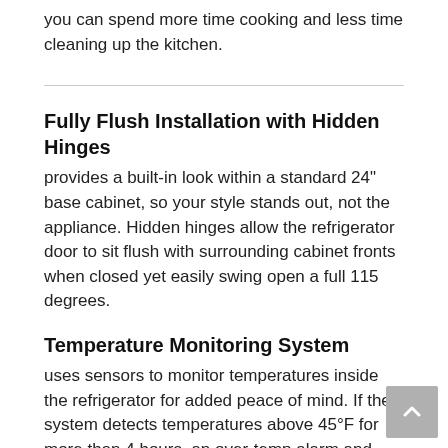you can spend more time cooking and less time cleaning up the kitchen.
Fully Flush Installation with Hidden Hinges
provides a built-in look within a standard 24" base cabinet, so your style stands out, not the appliance. Hidden hinges allow the refrigerator door to sit flush with surrounding cabinet fronts when closed yet easily swing open a full 115 degrees.
Temperature Monitoring System
uses sensors to monitor temperatures inside the refrigerator for added peace of mind. If the system detects temperatures above 45°F for more than 4 hours, an over-temp alarm and indicator light will alert you that service is needed.